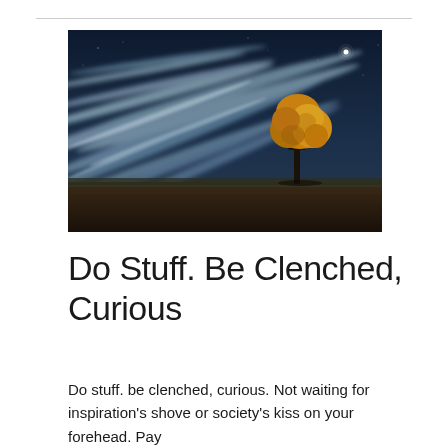[Figure (photo): Dramatic night sky with long-exposure streaking clouds over a dark landscape. A lone tree with golden autumn foliage stands on the right side of the horizon. A single bright star or moon is visible in the upper right of the dark blue sky.]
Do Stuff. Be Clenched, Curious
Do stuff. be clenched, curious. Not waiting for inspiration's shove or society's kiss on your forehead. Pay